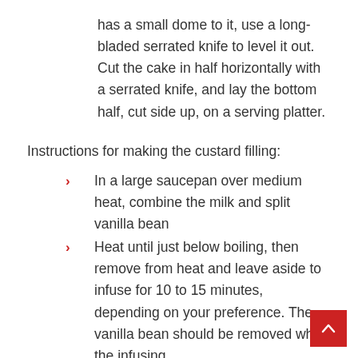has a small dome to it, use a long-bladed serrated knife to level it out. Cut the cake in half horizontally with a serrated knife, and lay the bottom half, cut side up, on a serving platter.
Instructions for making the custard filling:
In a large saucepan over medium heat, combine the milk and split vanilla bean
Heat until just below boiling, then remove from heat and leave aside to infuse for 10 to 15 minutes, depending on your preference. The vanilla bean should be removed when the infusing